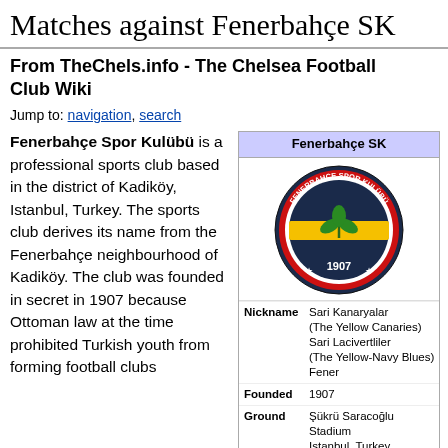Matches against Fenerbahçe SK
From TheChels.info - The Chelsea Football Club Wiki
Jump to: navigation, search
Fenerbahçe Spor Kulübü is a professional sports club based in the district of Kadiköy, Istanbul, Turkey. The sports club derives its name from the Fenerbahçe neighbourhood of Kadiköy. The club was founded in secret in 1907 because Ottoman law at the time prohibited Turkish youth from forming football clubs
| Fenerbahçe SK |
| --- |
| [logo] |
| Nickname | Sari Kanaryalar (The Yellow Canaries)
Sari Lacivertliler (The Yellow-Navy Blues)
Fener |
| Founded | 1907 |
| Ground | Şükrü Saracoğlu Stadium
Istanbul, Turkey |